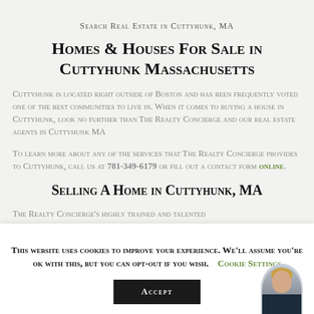Search Real Estate in Cuttyhunk, MA
Homes & Houses For Sale in Cuttyhunk Massachusetts
Cuttyhunk is located right outside of Boston and has been frequently voted one of the best communities to live in. When it comes to buying a house in Cuttyhunk, look no further than The Realty Concierge and our real estate agents in Cuttyhunk MA
To learn more about any of the services that The Realty Concierge provides to Cuttyhunk, call us at 781-349-6179 or fill out a contact form online.
Selling A Home in Cuttyhunk, MA
The Realty Concierge's highly trained and talented
This website uses cookies to improve your experience. We'll assume you're ok with this, but you can opt-out if you wish.   Cookie Settings
Accept